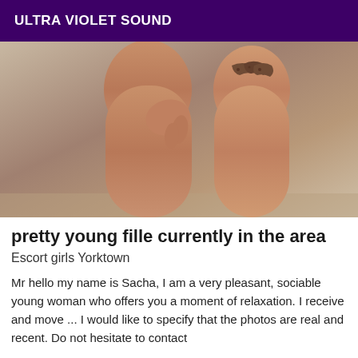ULTRA VIOLET SOUND
[Figure (photo): Photo showing legs of a person with a tattoo on the thigh, standing against a light wall background.]
pretty young fille currently in the area
Escort girls Yorktown
Mr hello my name is Sacha, I am a very pleasant, sociable young woman who offers you a moment of relaxation. I receive and move ... I would like to specify that the photos are real and recent. Do not hesitate to contact